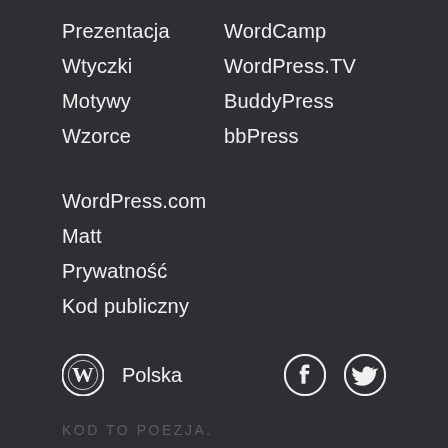Prezentacja
WordCamp
Wtyczki
WordPress.TV
Motywy
BuddyPress
Wzorce
bbPress
WordPress.com
Matt
Prywatność
Kod publiczny
Polska
KOD TO POEZJA.